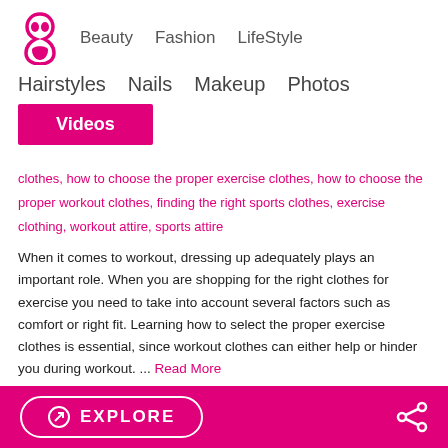Beauty  Fashion  LifeStyle
Hairstyles  Nails  Makeup  Photos
Videos
clothes, how to choose the proper exercise clothes, how to choose the proper workout clothes, finding the right sports clothes, exercise clothing, workout attire, sports attire
When it comes to workout, dressing up adequately plays an important role. When you are shopping for the right clothes for exercise you need to take into account several factors such as comfort or right fit. Learning how to select the proper exercise clothes is essential, since workout clothes can either help or hinder you during workout. ... Read More
Easy and Simple Leg Workout
EXPLORE